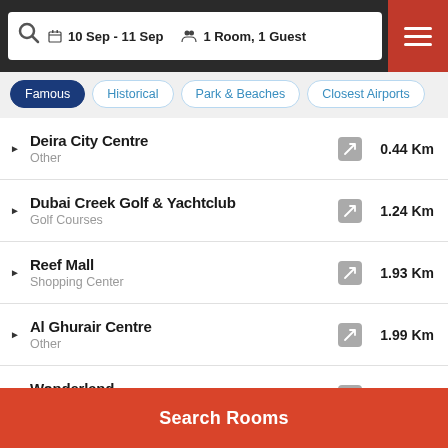10 Sep - 11 Sep  1 Room, 1 Guest
Famous | Historical | Park & Beaches | Closest Airports
Deira City Centre – Other – 0.44 Km
Dubai Creek Golf & Yachtclub – Golf Courses – 1.24 Km
Reef Mall – Shopping Center – 1.93 Km
Al Ghurair Centre – Other – 1.99 Km
Wonderland – Other – 2.27 Km
Dubai Healthcare City – 2.33 Km
Search Rooms